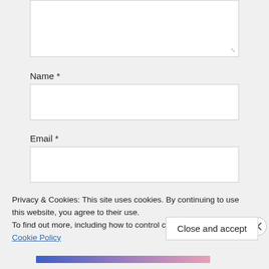[Figure (screenshot): A comment form textarea (white input box) with a resize handle in the lower right corner, on a light grey background.]
Name *
[Figure (screenshot): A white input field for Name, on light grey background.]
Email *
[Figure (screenshot): A white input field for Email, on light grey background.]
Privacy & Cookies: This site uses cookies. By continuing to use this website, you agree to their use.
To find out more, including how to control cookies, see here:
Cookie Policy
Close and accept